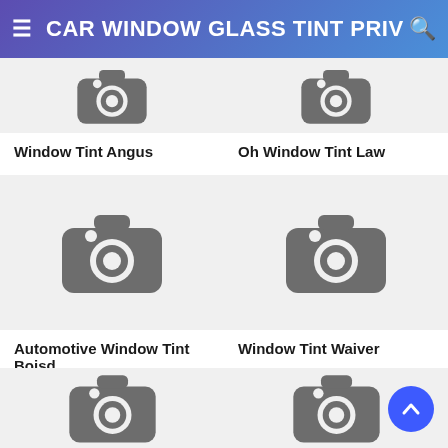CAR WINDOW GLASS TINT PRIV
[Figure (screenshot): Partial camera placeholder image for Window Tint Angus]
Window Tint Angus
[Figure (screenshot): Partial camera placeholder image for Oh Window Tint Law]
Oh Window Tint Law
[Figure (photo): Camera placeholder image for Automotive Window Tint Boisd]
Automotive Window Tint Boisd
[Figure (photo): Camera placeholder image for Window Tint Waiver]
Window Tint Waiver
[Figure (photo): Camera placeholder image (bottom left)]
[Figure (photo): Camera placeholder image (bottom right)]